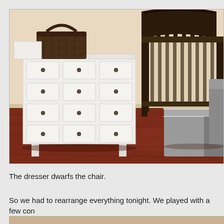[Figure (photo): A nursery room showing a white multi-drawer dresser on the left with a dark wicker basket on top, a dark espresso wood baby crib in the center-right, a gray upholstered ottoman in the foreground right, a gray armchair partially visible at far right, all on dark cherry hardwood flooring with cream-colored walls.]
The dresser dwarfs the chair.
So we had to rearrange everything tonight. We played with a few con
[Figure (photo): Partial view of another room photo at the bottom of the page, cropped.]